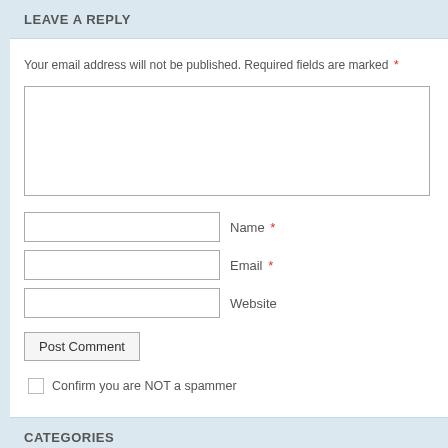LEAVE A REPLY
Your email address will not be published. Required fields are marked *
[Figure (screenshot): Comment text area input box (empty)]
Name *
Email *
Website
Post Comment
Confirm you are NOT a spammer
CATEGORIES